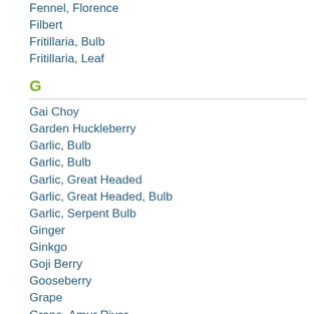Fennel, Florence
Filbert
Fritillaria, Bulb
Fritillaria, Leaf
G
Gai Choy
Garden Huckleberry
Garlic, Bulb
Garlic, Bulb
Garlic, Great Headed
Garlic, Great Headed, Bulb
Garlic, Serpent Bulb
Ginger
Ginkgo
Goji Berry
Gooseberry
Grape
Grape, Amur River
Grapefruit
Grapefruit, Japanese
Summer